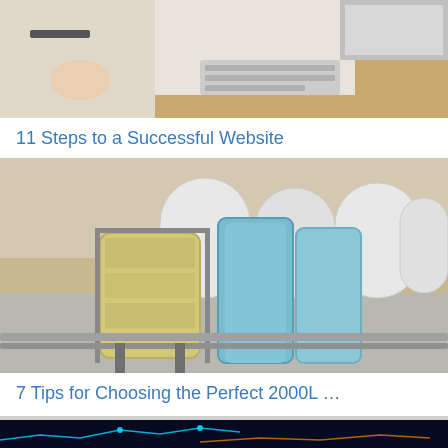[Figure (photo): Top portion of a photo showing a desk workspace with a laptop keyboard, papers/documents, and some items on a wooden desk surface.]
11 Steps to a Successful Website
[Figure (photo): Aerial/overhead view of large industrial storage tanks of varying colors (white, yellow/cream, blue/teal) arranged in a row outdoors in a dry landscape.]
7 Tips for Choosing the Perfect 2000L …
[Figure (photo): Dark background with glowing blue network/data visualization lines and orange accents, appears to be a technology or data analytics themed image.]